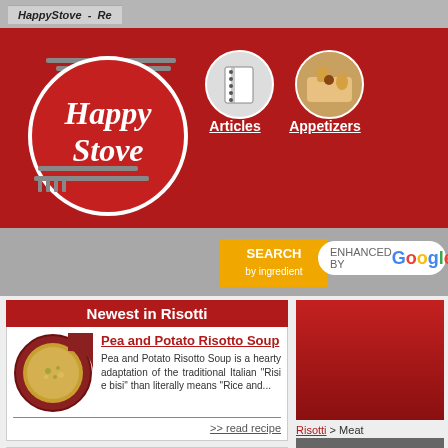HappyStove - Re
[Figure (logo): HappyStove logo: circular red emblem with fork and knife, cursive text 'Happy Stove']
[Figure (photo): Articles navigation icon with notebook/spiral book image]
Articles
[Figure (photo): Appetizers navigation icon with food photo]
Appetizers
SEARCH by ingredient
ENHANCED BY Google
Newest in Risotti
[Figure (photo): Bowl of pea and potato risotto soup]
Pea and Potato Risotto Soup
Pea and Potato Risotto Soup is a hearty adaptation of the traditional Italian "Risi e bisi" than literally means "Rice and...
>> read recipe
Refine these recipes by tag:
Easy (1)
Italian (1)
Risotti > Meat
[Figure (photo): Chef image in white uniform]